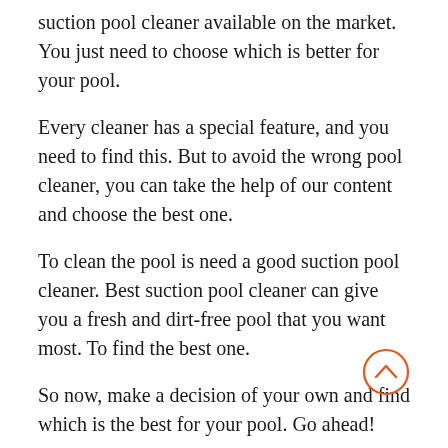suction pool cleaner available on the market. You just need to choose which is better for your pool.
Every cleaner has a special feature, and you need to find this. But to avoid the wrong pool cleaner, you can take the help of our content and choose the best one.
To clean the pool is need a good suction pool cleaner. Best suction pool cleaner can give you a fresh and dirt-free pool that you want most. To find the best one.
So now, make a decision of your own and find which is the best for your pool. Go ahead!
7 Best Pool Vacuum For Algae That Will Actually Make Your Pool Better.